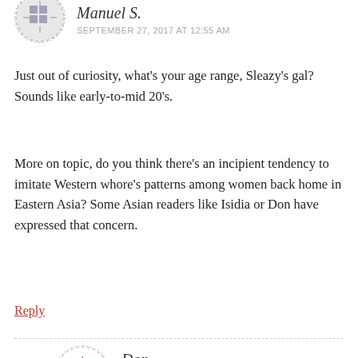[Figure (illustration): Circular avatar with dashed border containing a purple decorative pattern on grey background, partially visible at top-left]
Manuel S.
SEPTEMBER 27, 2017 AT 12:55 AM
Just out of curiosity, what's your age range, Sleazy's gal? Sounds like early-to-mid 20's.
More on topic, do you think there's an incipient tendency to imitate Western whore's patterns among women back home in Eastern Asia? Some Asian readers like Isidia or Don have expressed that concern.
Reply
[Figure (illustration): Circular avatar with dashed border containing a red decorative star/cross pattern on white background]
Don
SEPTEMBER 27, 2017 AT 8:34 AM